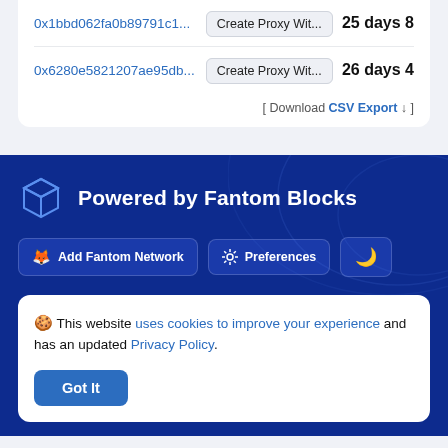| Address | Action | Age |
| --- | --- | --- |
| 0x1bbd062fa0b89791c1... | Create Proxy Wit... | 25 days 8 |
| 0x6280e5821207ae95db... | Create Proxy Wit... | 26 days 4 |
[ Download CSV Export ↓ ]
[Figure (logo): Fantom Blocks logo: a cube/box outline icon in blue on dark blue background]
Powered by Fantom Blocks
Add Fantom Network   Preferences   (moon icon)
🍪 This website uses cookies to improve your experience and has an updated Privacy Policy.
Got It